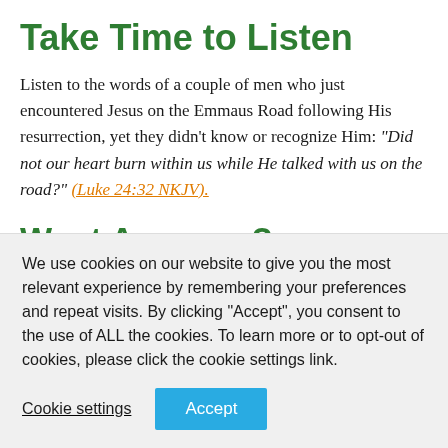Take Time to Listen
Listen to the words of a couple of men who just encountered Jesus on the Emmaus Road following His resurrection, yet they didn't know or recognize Him: “Did not our heart burn within us while He talked with us on the road?” (Luke 24:32 NKJV).
Want Answers?
If you have questions about listening, the answers and more are...
We use cookies on our website to give you the most relevant experience by remembering your preferences and repeat visits. By clicking “Accept”, you consent to the use of ALL the cookies. To learn more or to opt-out of cookies, please click the cookie settings link.
Cookie settings | Accept